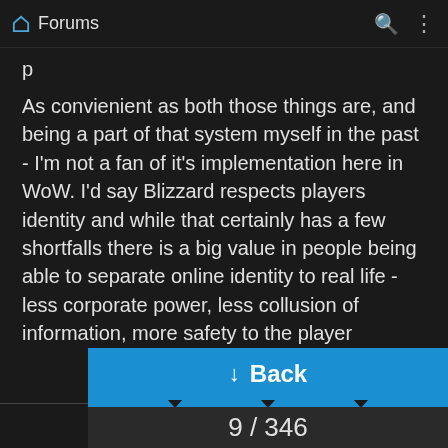Forums
p
As convienient as both those things are, and being a part of that system myself in the past - I'm not a fan of it's implementation here in WoW. I'd say Blizzard respects players identity and while that certainly has a few shortfalls there is a big value in people being able to separate online identity to real life - less corporate power, less collusion of information, more safety to the player
You don't know how someone can misconstrue something you've said ingame against you.
Back | 9 / 346